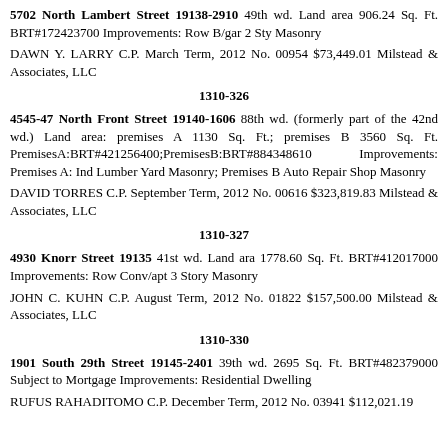5702 North Lambert Street 19138-2910 49th wd. Land area 906.24 Sq. Ft. BRT#172423700 Improvements: Row B/gar 2 Sty Masonry
DAWN Y. LARRY C.P. March Term, 2012 No. 00954 $73,449.01 Milstead & Associates, LLC
1310-326
4545-47 North Front Street 19140-1606 88th wd. (formerly part of the 42nd wd.) Land area: premises A 1130 Sq. Ft.; premises B 3560 Sq. Ft. PremisesA:BRT#421256400;PremisesB:BRT#884348610 Improvements: Premises A: Ind Lumber Yard Masonry; Premises B Auto Repair Shop Masonry
DAVID TORRES C.P. September Term, 2012 No. 00616 $323,819.83 Milstead & Associates, LLC
1310-327
4930 Knorr Street 19135 41st wd. Land ara 1778.60 Sq. Ft. BRT#412017000 Improvements: Row Conv/apt 3 Story Masonry
JOHN C. KUHN C.P. August Term, 2012 No. 01822 $157,500.00 Milstead & Associates, LLC
1310-330
1901 South 29th Street 19145-2401 39th wd. 2695 Sq. Ft. BRT#482379000 Subject to Mortgage Improvements: Residential Dwelling
RUFUS RAHADITOMO C.P. December Term, 2012 No. 03941 $112,021.19